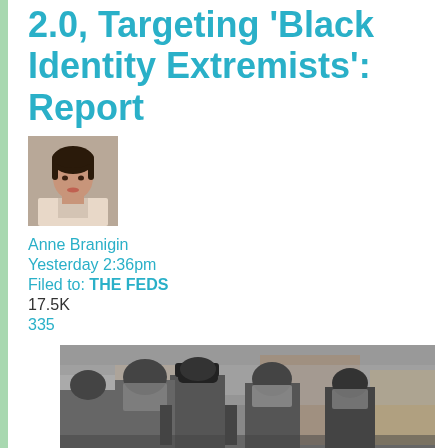2.0, Targeting 'Black Identity Extremists': Report
[Figure (photo): Headshot of author Anne Branigin, a young woman with dark hair]
Anne Branigin
Yesterday 2:36pm
Filed to: THE FEDS
17.5K
335
[Figure (photo): Crowd of police officers in riot gear with helmets and face shields]